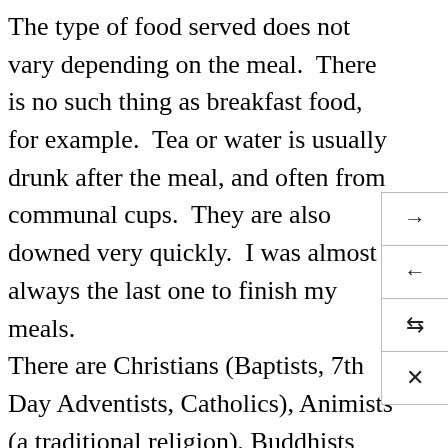The type of food served does not vary depending on the meal. There is no such thing as breakfast food, for example. Tea or water is usually drunk after the meal, and often from communal cups. They are also downed very quickly. I was almost always the last one to finish my meals. There are Christians (Baptists, 7th Day Adventists, Catholics), Animists (a traditional religion), Buddhists and Muslims here. They are not segregated and live in every section of the camp. There are several churches, Buddhist monasteries and other places of worship. There are small stores run from people's homes and a market selling clothing and household items. There are many NGOs and government
[Figure (other): A small overlay panel with four navigation/action buttons: forward arrow (→), back arrow (←), shuffle/random icon (⇌), and close/cancel icon (×).]